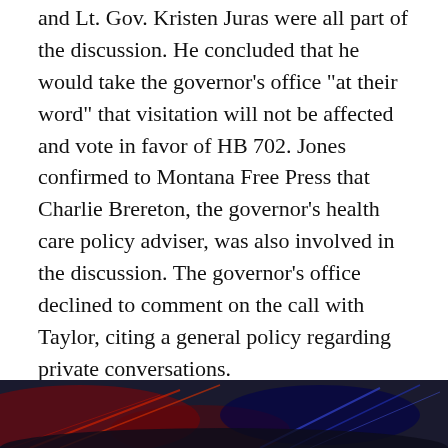and Lt. Gov. Kristen Juras were all part of the discussion. He concluded that he would take the governor’s office “at their word” that visitation will not be affected and vote in favor of HB 702. Jones confirmed to Montana Free Press that Charlie Brereton, the governor’s health care policy adviser, was also involved in the discussion. The governor’s office declined to comment on the call with Taylor, citing a general policy regarding private conversations.
Concerns about impacts to visitation were expressed in a joint statement from four Montana health care associations last week opposing HB 702.
[Figure (photo): Partial photo visible at bottom of page, dark image with red and blue light streaks]